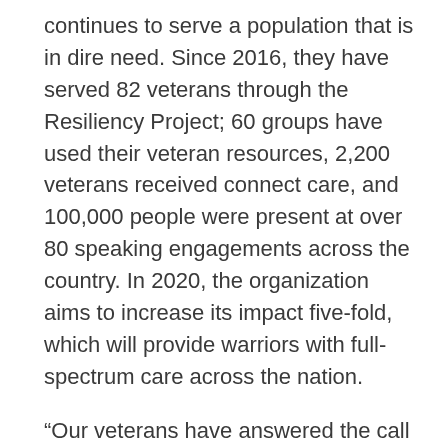continues to serve a population that is in dire need. Since 2016, they have served 82 veterans through the Resiliency Project; 60 groups have used their veteran resources, 2,200 veterans received connect care, and 100,000 people were present at over 80 speaking engagements across the country. In 2020, the organization aims to increase its impact five-fold, which will provide warriors with full-spectrum care across the nation.
“Our veterans have answered the call to protect us for a long time,” said CEO of OneShare Health Alex Cardona, “and now it is our turn to help and protect them after their service. Shield of Faith Missions is an essential organization that is giving